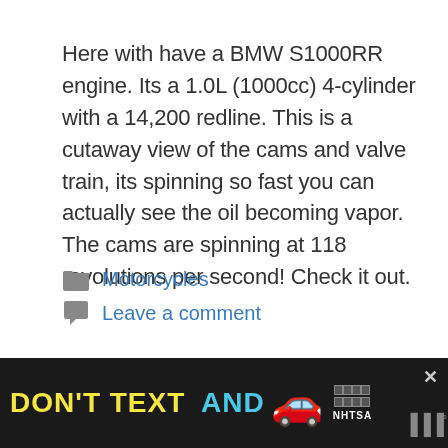Here with have a BMW S1000RR engine. Its a 1.0L (1000cc) 4-cylinder with a 14,200 redline. This is a cutaway view of the cams and valve train, its spinning so fast you can actually see the oil becoming vapor. The cams are spinning at 118 revolutions per second! Check it out.
Motorcycles
Leave a comment
[Figure (infographic): Advertisement banner: 'DON'T TEXT AND' with car emoji and NHTSA ad badge, dark background]